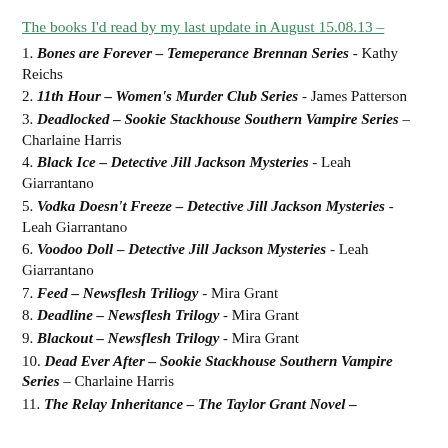The books I'd read by my last update in August 15.08.13 –
1. Bones are Forever – Temeperance Brennan Series - Kathy Reichs
2. 11th Hour – Women's Murder Club Series - James Patterson
3. Deadlocked – Sookie Stackhouse Southern Vampire Series – Charlaine Harris
4. Black Ice – Detective Jill Jackson Mysteries - Leah Giarrantano
5. Vodka Doesn't Freeze – Detective Jill Jackson Mysteries - Leah Giarrantano
6. Voodoo Doll – Detective Jill Jackson Mysteries - Leah Giarrantano
7. Feed – Newsflesh Triliogy - Mira Grant
8. Deadline – Newsflesh Trilogy - Mira Grant
9. Blackout – Newsflesh Trilogy - Mira Grant
10. Dead Ever After – Sookie Stackhouse Southern Vampire Series – Charlaine Harris
11. The Relay Inheritance – The Taylor Grant Novel –